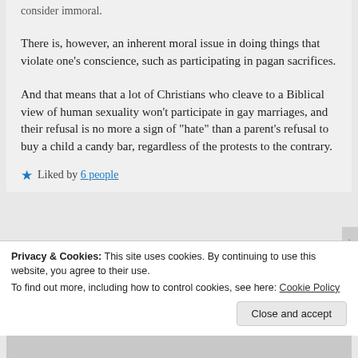consider immoral.
There is, however, an inherent moral issue in doing things that violate one’s conscience, such as participating in pagan sacrifices.
And that means that a lot of Christians who cleave to a Biblical view of human sexuality won’t participate in gay marriages, and their refusal is no more a sign of “hate” than a parent’s refusal to buy a child a candy bar, regardless of the protests to the contrary.
★ Liked by 6 people
tenthousandplaces says:
Privacy & Cookies: This site uses cookies. By continuing to use this website, you agree to their use.
To find out more, including how to control cookies, see here: Cookie Policy
Close and accept